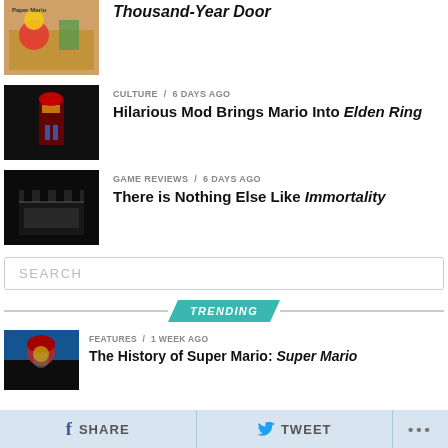[Figure (photo): Paper Mario game thumbnail - colorful characters on light background]
Thousand-Year Door
[Figure (photo): Mario character in dark environment - Elden Ring mod screenshot]
CULTURE / 6 days ago
Hilarious Mod Brings Mario Into Elden Ring
[Figure (photo): Dark film set / clapperboard scene - Immortality game]
GAME REVIEWS / 6 days ago
There is Nothing Else Like Immortality
SEARCH
TRENDING
[Figure (photo): Super Mario thumbnail - blue and colorful background with Mario]
FEATURES / 1 week ago
The History of Super Mario: Super Mario
SHARE   TWEET   ...